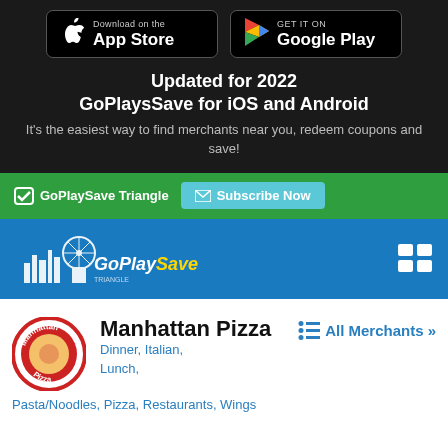[Figure (screenshot): App Store download button (black background, Apple logo, 'Download on the App Store' text)]
[Figure (screenshot): Google Play download button (black background, Google Play triangle logo, 'GET IT ON Google Play' text)]
Updated for 2022 GoPlaysSave for iOS and Android
It's the easiest way to find merchants near you, redeem coupons and save!
[Figure (screenshot): Green navigation bar with GoPlaySave Triangle label and Subscribe Now button]
[Figure (logo): GoPlaySave logo on blue header bar with grid/menu icon on right]
[Figure (logo): Manhattan Pizza circular logo]
Manhattan Pizza
Dinner, Italian, Lunch,
All Merchants »
Pasta/Noodles, Pizza, Restaurants, Wings